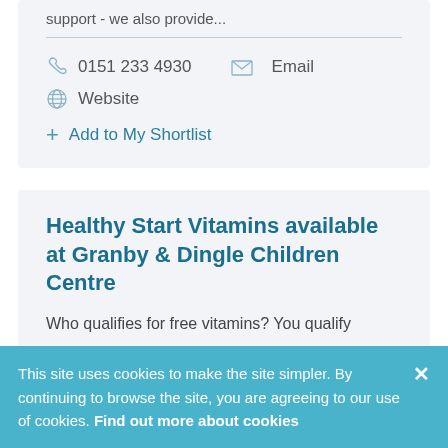support - we also provide...
0151 233 4930   Email
Website
+ Add to My Shortlist
Healthy Start Vitamins available at Granby & Dingle Children Centre
Who qualifies for free vitamins? You qualify
This site uses cookies to make the site simpler. By continuing to browse the site, you are agreeing to our use of cookies. Find out more about cookies